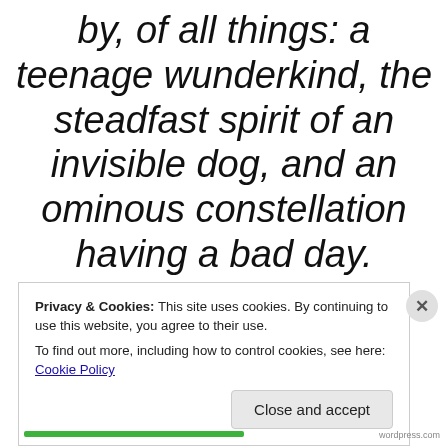by, of all things: a teenage wunderkind, the steadfast spirit of an invisible dog, and an ominous constellation having a bad day.
Privacy & Cookies: This site uses cookies. By continuing to use this website, you agree to their use.
To find out more, including how to control cookies, see here: Cookie Policy
Close and accept